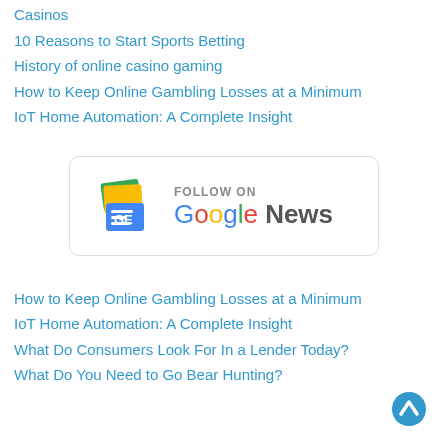Casinos
10 Reasons to Start Sports Betting
History of online casino gaming
How to Keep Online Gambling Losses at a Minimum
IoT Home Automation: A Complete Insight
[Figure (logo): Follow on Google News button with Google News icon and text]
How to Keep Online Gambling Losses at a Minimum
IoT Home Automation: A Complete Insight
What Do Consumers Look For In a Lender Today?
What Do You Need to Go Bear Hunting?